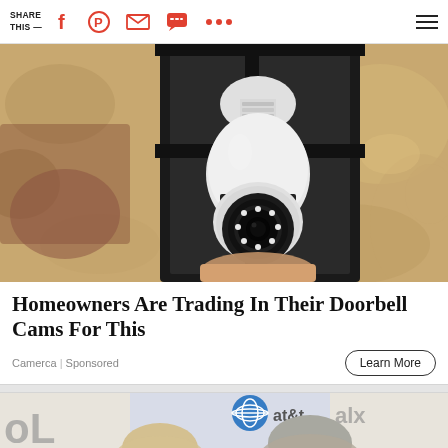SHARE THIS —
[Figure (photo): Close-up photo of a security camera bulb mounted in a black outdoor lantern fixture on a textured stucco wall. The camera has a white dome shape with a circular lens and ring of LED lights.]
Homeowners Are Trading In Their Doorbell Cams For This
Camerca | Sponsored
Learn More
[Figure (photo): Partial photo showing two people in front of an AT&T backdrop with signage. Only the tops of their heads/faces are visible.]